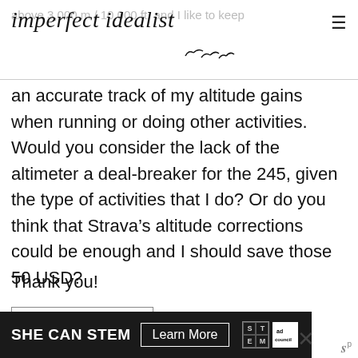imperfect idealist
an accurate track of my altitude gains when running or doing other activities. Would you consider the lack of the altimeter a deal-breaker for the 245, given the type of activities that I do? Or do you think that Strava’s altitude corrections could be enough and I should save those 50 USD?
Thank you!
Reply
[Figure (other): Advertisement banner: SHE CAN STEM with Learn More button and ad council logo]